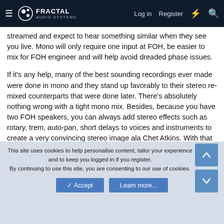Fractal Audio Systems — Log in | Register
streamed and expect to hear something similar when they see you live. Mono will only require one input at FOH, be easier to mix for FOH engineer and will help avoid dreaded phase issues.
If it's any help, many of the best sounding recordings ever made were done in mono and they stand up favorably to their stereo re-mixed counterparts that were done later. There's absolutely nothing wrong with a tight mono mix. Besides, because you have two FOH speakers, you can always add stereo effects such as rotary, trem, auto-pan, short delays to voices and instruments to create a very convincing stereo image ala Chet Atkins. With that said, there are some sources, keyboards, or a Gretsch 6120 with the stereo pickups that sent the top and bottom strings to different outputs that are intended to have both
This site uses cookies to help personalise content, tailor your experience and to keep you logged in if you register. By continuing to use this site, you are consenting to our use of cookies.